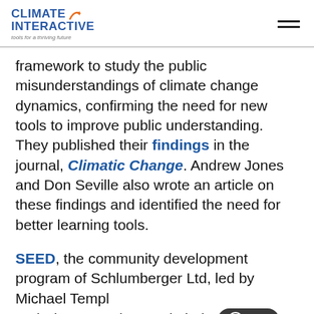Climate Interactive — tools for a thriving future
framework to study the public misunderstandings of climate change dynamics, confirming the need for new tools to improve public understanding. They published their findings in the journal, Climatic Change. Andrew Jones and Don Seville also wrote an article on these findings and identified the need for better learning tools.
SEED, the community development program of Schlumberger Ltd, led by Michael Templ and Simone Amber, and Linda we then convened these collaborators plus L